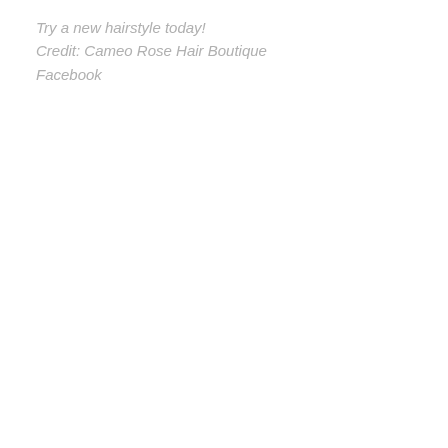Try a new hairstyle today!
Credit: Cameo Rose Hair Boutique
Facebook